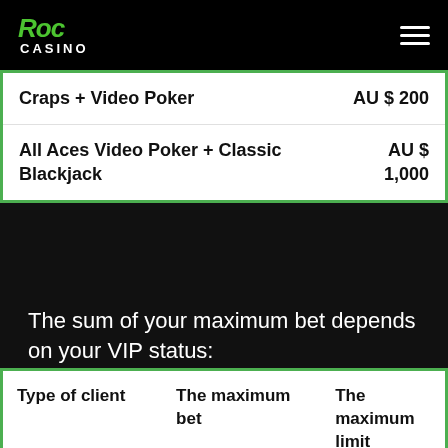Roc Casino
| Craps + Video Poker | AU $ 200 |
| All Aces Video Poker + Classic Blackjack | AU $ 1,000 |
The sum of your maximum bet depends on your VIP status:
| Type of client | The maximum bet | The maximum limit |
| --- | --- | --- |
| Players who | Lower than 20% of the |  |